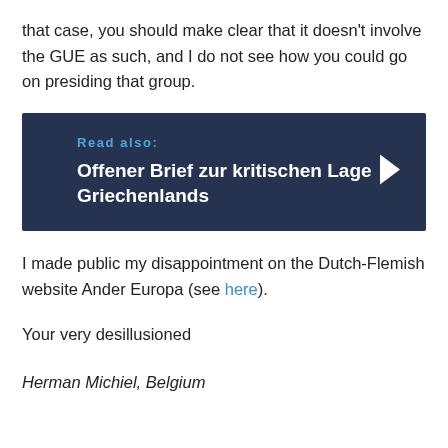that case, you should make clear that it doesn't involve the GUE as such, and I do not see how you could go on presiding that group.
[Figure (other): Dark navy blue call-out box with 'Read also:' label in blue and bold white text reading 'Offener Brief zur kritischen Lage Griechenlands' with a right-pointing white arrow on the right side.]
I made public my disappointment on the Dutch-Flemish website Ander Europa (see here).
Your very desillusioned
Herman Michiel, Belgium